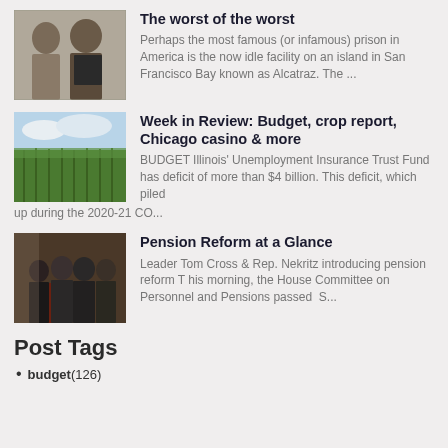[Figure (photo): Two men in a mugshot-style photo]
The worst of the worst
Perhaps the most famous (or infamous) prison in America is the now idle facility on an island in San Francisco Bay known as Alcatraz. The ...
[Figure (photo): Cornfield with green stalks and cloudy sky]
Week in Review: Budget, crop report, Chicago casino & more
BUDGET Illinois’ Unemployment Insurance Trust Fund has deficit of more than $4 billion. This deficit, which piled up during the 2020-21 CO...
[Figure (photo): Group of people in suits at a podium or press event]
Pension Reform at a Glance
Leader Tom Cross & Rep. Nekritz introducing pension reform T his morning, the House Committee on Personnel and Pensions passed  S...
Post Tags
budget (126)